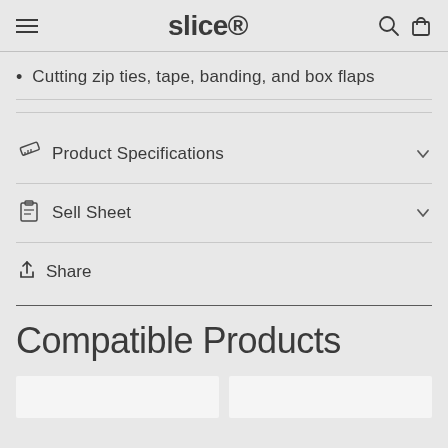slice
Cutting zip ties, tape, banding, and box flaps
Product Specifications
Sell Sheet
Share
Compatible Products